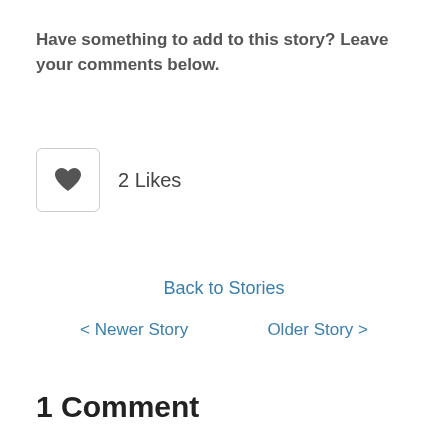Have something to add to this story? Leave your comments below.
[Figure (infographic): A like button with a heart icon in a rounded rectangle border, followed by '2 Likes' text]
Back to Stories
< Newer Story
Older Story >
1 Comment